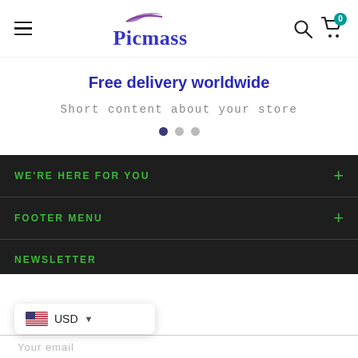Picmass — navigation header with hamburger menu, logo, search and cart icons
Free delivery worldwide
Short content about your store
WE'RE HERE FOR YOU
FOOTER MENU
NEWSLETTER
USD (currency selector with US flag)
Your email